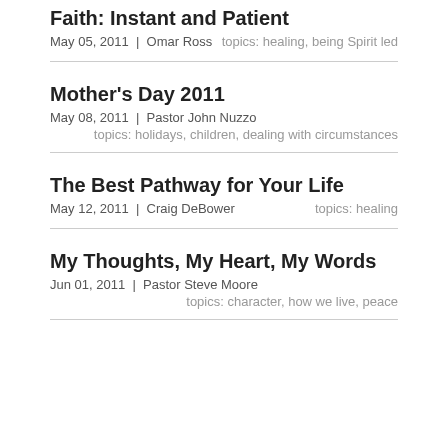Faith: Instant and Patient
May 05, 2011 | Omar Ross
topics: healing, being Spirit led
Mother's Day 2011
May 08, 2011 | Pastor John Nuzzo
topics: holidays, children, dealing with circumstances
The Best Pathway for Your Life
May 12, 2011 | Craig DeBower
topics: healing
My Thoughts, My Heart, My Words
Jun 01, 2011 | Pastor Steve Moore
topics: character, how we live, peace